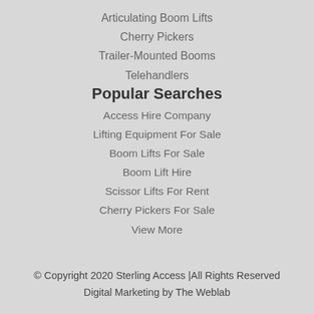Articulating Boom Lifts
Cherry Pickers
Trailer-Mounted Booms
Telehandlers
Popular Searches
Access Hire Company
Lifting Equipment For Sale
Boom Lifts For Sale
Boom Lift Hire
Scissor Lifts For Rent
Cherry Pickers For Sale
View More
© Copyright 2020 Sterling Access |All Rights Reserved
Digital Marketing by The Weblab